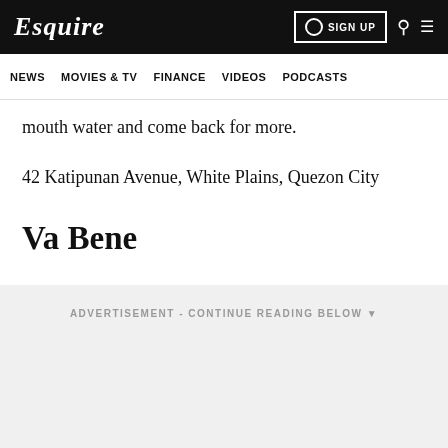Esquire | NEWS | MOVIES & TV | FINANCE | VIDEOS | PODCASTS
mouth water and come back for more.
42 Katipunan Avenue, White Plains, Quezon City
Va Bene
ADVERTISEMENT - CONTINUE READING BELOW